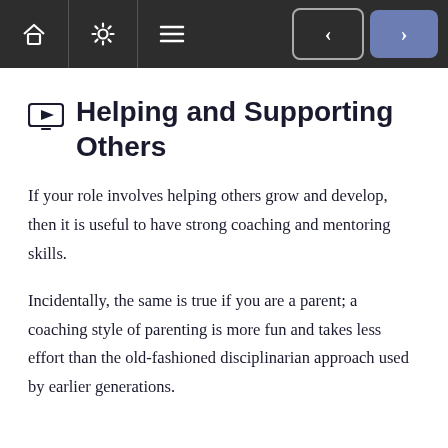Navigation bar with home, settings, menu icons and previous/next buttons
Helping and Supporting Others
If your role involves helping others grow and develop, then it is useful to have strong coaching and mentoring skills.
Incidentally, the same is true if you are a parent; a coaching style of parenting is more fun and takes less effort than the old-fashioned disciplinarian approach used by earlier generations.